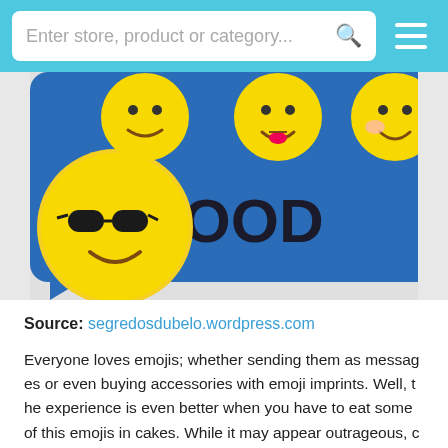Enter store, product or category...
[Figure (photo): Photo of emoji-themed cakes on a blue speech bubble background with '#MOOD' text. Yellow smiley face cakes with various expressions including one with sunglasses.]
Source: segredosdubelo.wordpress.com
Everyone loves emojis; whether sending them as messages or even buying accessories with emoji imprints. Well, the experience is even better when you have to eat some of this emojis in cakes. While it may appear outrageous, creating such a cake is very simple. You only need an already a frosted yellow cake of whichever flavor. It can be either homemade or bought from the grocery stores. The tr...